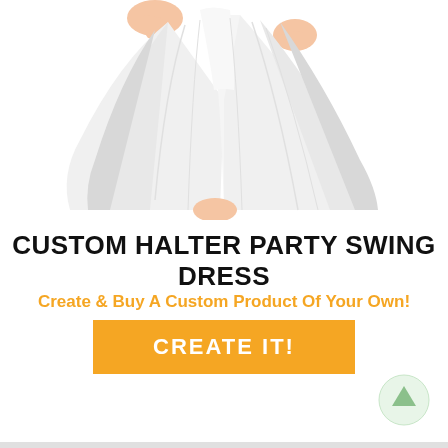[Figure (photo): Woman in white halter party swing dress, dress flaring outward, lower body and hands visible holding the skirt against white background]
CUSTOM HALTER PARTY SWING DRESS
Create & Buy A Custom Product Of Your Own!
CREATE IT!